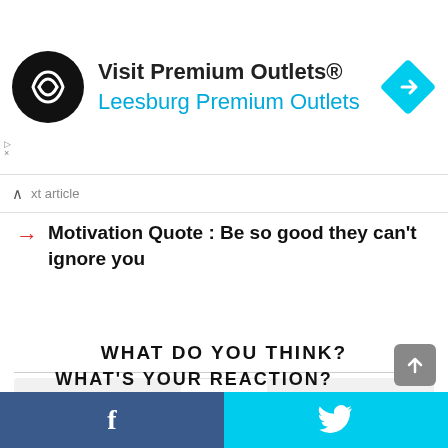[Figure (screenshot): Advertisement banner for Visit Premium Outlets® - Leesburg Premium Outlets with circular black logo and blue diamond arrow icon]
xt article
Motivation Quote : Be so good they can't ignore you
WHAT DO YOU THINK?
[Figure (infographic): Voting widget showing upvote button, 26 Points, and downvote button]
WHAT'S YOUR REACTION?
[Figure (infographic): Bottom social share bar with Facebook and Twitter buttons]